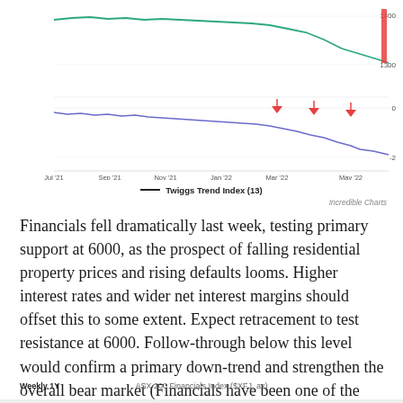[Figure (continuous-plot): Line chart showing ASX 200 Financials Index with Twiggs Trend Index (13) overlay. Top panel shows price line (green/teal) ranging around 1300-1400. Bottom panel shows Twiggs Trend Index oscillator (blue/purple line) ranging from 0 to -2, with three red downward arrows near Mar '22, Apr '22, and May '22. X-axis labels: Jul '21, Sep '21, Nov '21, Jan '22, Mar '22, May '22. Y-axis right side: 1400, 1300 for top panel; 0, -2 for bottom panel.]
— Twiggs Trend Index (13)
Incredible Charts
Financials fell dramatically last week, testing primary support at 6000, as the prospect of falling residential property prices and rising defaults looms. Higher interest rates and wider net interest margins should offset this to some extent. Expect retracement to test resistance at 6000. Follow-through below this level would confirm a primary down-trend and strengthen the overall bear market (Financials have been one of the stronger sectors).
Weekly 1Y    ASX 200 Financials Index ($XFJ_ax)